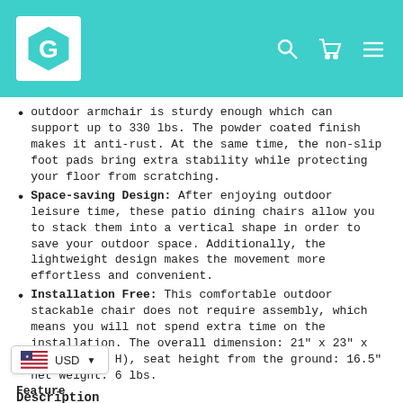G logo and navigation header with teal background
outdoor armchair is sturdy enough which can support up to 330 lbs. The powder coated finish makes it anti-rust. At the same time, the non-slip foot pads bring extra stability while protecting your floor from scratching.
Space-saving Design: After enjoying outdoor leisure time, these patio dining chairs allow you to stack them into a vertical shape in order to save your outdoor space. Additionally, the lightweight design makes the movement more effortless and convenient.
Installation Free: This comfortable outdoor stackable chair does not require assembly, which means you will not spend extra time on the installation. The overall dimension: 21" x 23" x 30"(L x W x H), seat height from the ground: 16.5" net weight: 6 lbs.
Description
Enjoy the beautiful sunset with this outdoor patio dining chair!
The curved backrest, ergonomic armrests and spacious seat make this outdoor chair wonderful and comfortable. What's more, the rustproof steel frame and all-weather PE rattan let this outdoor bistro chair fit outdoors, such as patio, backyard and garden, etc. And the stackable design brings great convenience to save your outdoor
Feature